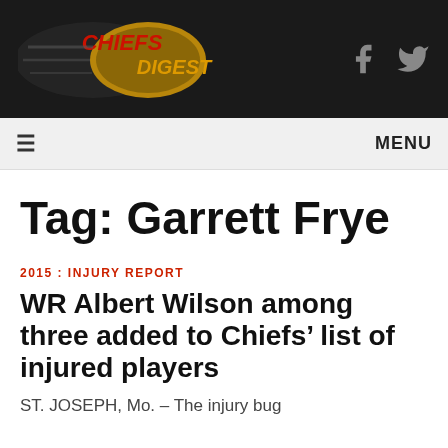[Figure (logo): Chiefs Digest logo - football shaped emblem with red text on dark background with motion blur effect]
Chiefs Digest - Facebook and Twitter social icons
MENU
Tag: Garrett Frye
2015 : INJURY REPORT
WR Albert Wilson among three added to Chiefs’ list of injured players
ST. JOSEPH, Mo. – The injury bug